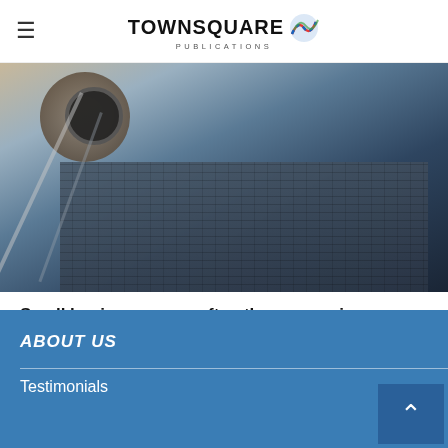TOWNSQUARE PUBLICATIONS
[Figure (photo): Close-up photo of a person wearing a watch near a laptop on a dark surface]
Small businesses are often the economic backbone of communities, providing goods and services that make ...
1  2  3  >>
ABOUT US
Testimonials